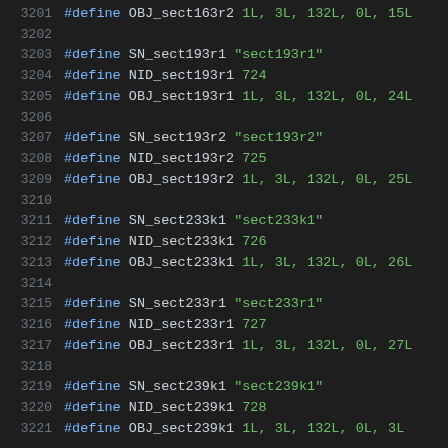3201  #define OBJ_sect163r2 1L, 3L, 132L, 0L, 15L
3202
3203  #define SN_sect193r1 "sect193r1"
3204  #define NID_sect193r1 724
3205  #define OBJ_sect193r1 1L, 3L, 132L, 0L, 24L
3206
3207  #define SN_sect193r2 "sect193r2"
3208  #define NID_sect193r2 725
3209  #define OBJ_sect193r2 1L, 3L, 132L, 0L, 25L
3210
3211  #define SN_sect233k1 "sect233k1"
3212  #define NID_sect233k1 726
3213  #define OBJ_sect233k1 1L, 3L, 132L, 0L, 26L
3214
3215  #define SN_sect233r1 "sect233r1"
3216  #define NID_sect233r1 727
3217  #define OBJ_sect233r1 1L, 3L, 132L, 0L, 27L
3218
3219  #define SN_sect239k1 "sect239k1"
3220  #define NID_sect239k1 728
3221  #define OBJ_sect239k1 1L, 3L, 132L, 0L, 3L